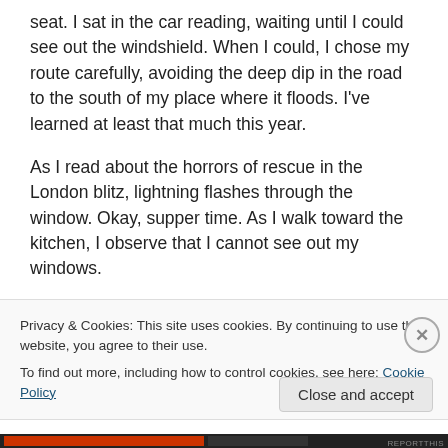seat. I sat in the car reading, waiting until I could see out the windshield. When I could, I chose my route carefully, avoiding the deep dip in the road to the south of my place where it floods. I've learned at least that much this year.

As I read about the horrors of rescue in the London blitz, lightning flashes through the window. Okay, supper time. As I walk toward the kitchen, I observe that I cannot see out my windows.

Full disclosure – I still harbour a 2 year-old within, who found herself with an unconscious baby sitter in the middle
Privacy & Cookies: This site uses cookies. By continuing to use this website, you agree to their use.
To find out more, including how to control cookies, see here: Cookie Policy
Close and accept